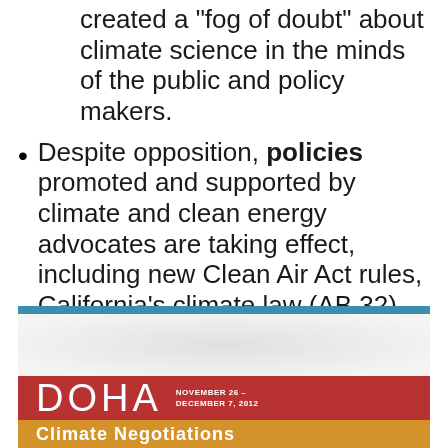created a "fog of doubt" about climate science in the minds of the public and policy makers.
Despite opposition, policies promoted and supported by climate and clean energy advocates are taking effect, including new Clean Air Act rules, California's climate law (AB 32), and New England's Regional Greenhouse Gas Initiative.
[Figure (other): Doha climate negotiations banner with blue top bar, white/gray textured middle section, red bar with 'DOHA NOVEMBER 26 - DECEMBER 7, 2012', and yellow/orange bar with 'Climate Negotiations' text]